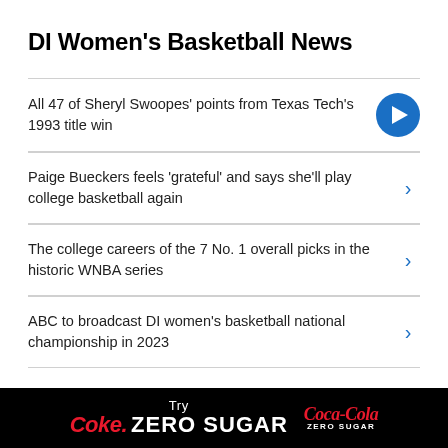DI Women's Basketball News
All 47 of Sheryl Swoopes' points from Texas Tech's 1993 title win
Paige Bueckers feels 'grateful' and says she'll play college basketball again
The college careers of the 7 No. 1 overall picks in the historic WNBA series
ABC to broadcast DI women's basketball national championship in 2023
Try Coke. ZERO SUGAR | Coca-Cola ZERO SUGAR